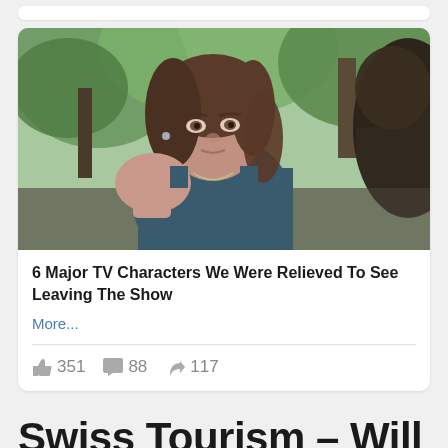[Figure (photo): A woman with brown hair wearing a dark blue tank top and a necklace, looking directly at camera, with trees and another person partially visible in the background. Still from a TV show.]
6 Major TV Characters We Were Relieved To See Leaving The Show
More...
351  88  117
Swiss Tourism – Will the